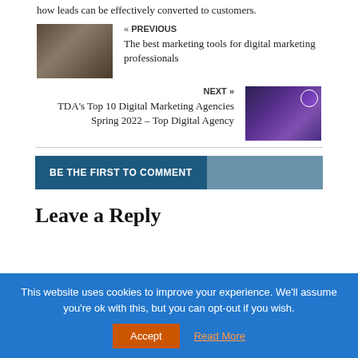how leads can be effectively converted to customers.
« PREVIOUS
The best marketing tools for digital marketing professionals
NEXT »
TDA's Top 10 Digital Marketing Agencies Spring 2022 – Top Digital Agency
BE THE FIRST TO COMMENT
Leave a Reply
This website uses cookies to improve your experience. We'll assume you're ok with this, but you can opt-out if you wish.